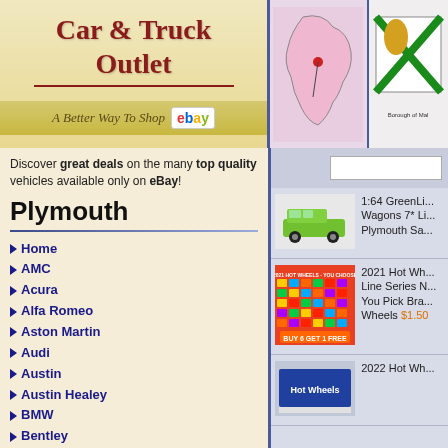[Figure (logo): Car & Truck Outlet logo with eBay tagline and maps/crests]
Discover great deals on the many top quality vehicles available only on eBay!
Plymouth
Home
AMC
Acura
Alfa Romeo
Aston Martin
Audi
Austin
Austin Healey
BMW
Bentley
Buick
Cadillac
Chevrolet
Chrysler
Citroen
Daewoo
Datsun
DeLorean
DeSoto
[Figure (photo): 1:64 GreenLight Wagons 7* Limited edition Plymouth Safari wagon toy car - green]
1:64 GreenLi... Wagons 7* Li... Plymouth Sa...
[Figure (photo): 2021 Hot Wheels You Choose grid of cars - Buy 6 Get 1 Free]
2021 Hot Wh... Line Series N... You Pick Bra... Wheels $1.50
[Figure (photo): 2022 Hot Wheels product packaging]
2022 Hot Wh...